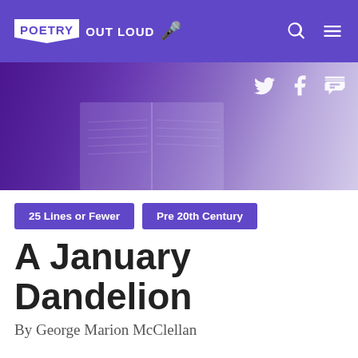POETRY OUT LOUD
[Figure (photo): Person holding open book with purple-tinted overlay, hero image for Poetry Out Loud website]
25 Lines or Fewer
Pre 20th Century
A January Dandelion
By George Marion McClellan
All Nashville is a chill. And everywhere
Like desert sand, when the winds blow,
There is each moment sifted through the air,
A powdered blast of January snow.